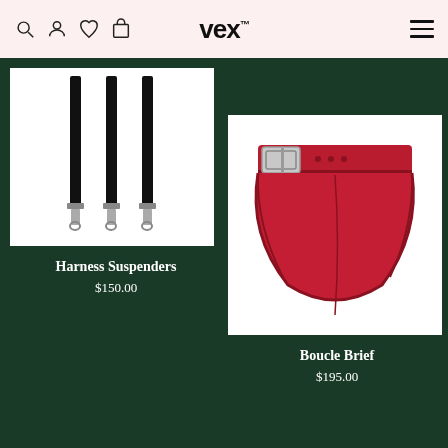VCX™ — navigation header with search, account, wishlist, cart icons and hamburger menu
[Figure (photo): Black harness suspenders with metal clasps on white background]
Harness Suspenders
$150.00
[Figure (photo): Red latex/PVC boucle brief with silver buckle and belt detail on white background]
Boucle Brief
$195.00